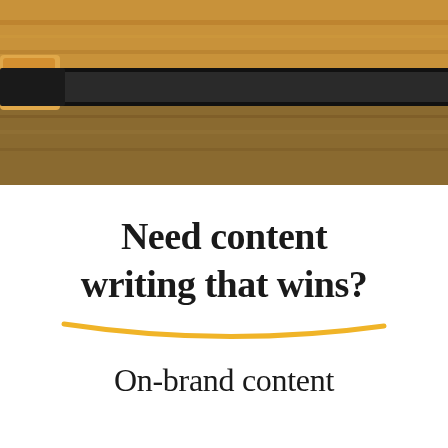[Figure (photo): Top portion of page showing a close-up photo of what appears to be a wooden surface and dark laptop or keyboard edge, with warm brown and dark tones.]
Need content writing that wins?
On-brand content